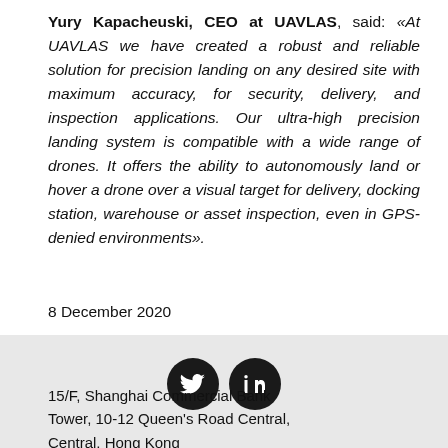Yury Kapacheuski, CEO at UAVLAS, said: «At UAVLAS we have created a robust and reliable solution for precision landing on any desired site with maximum accuracy, for security, delivery, and inspection applications. Our ultra-high precision landing system is compatible with a wide range of drones. It offers the ability to autonomously land or hover a drone over a visual target for delivery, docking station, warehouse or asset inspection, even in GPS-denied environments».
8 December 2020
[Figure (other): Social media icons: Twitter and LinkedIn, displayed as white icons on black circular backgrounds]
15/F, Shanghai Commercial Bank Tower, 10-12 Queen's Road Central, Central, Hong Kong